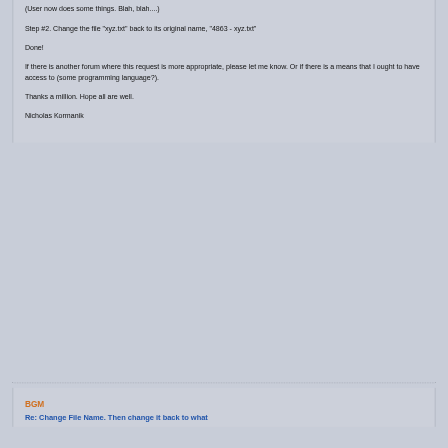(User now does some things.  Blah, blah....)
Step #2.  Change the file "xyz.txt" back to its original name, "4863 - xyz.txt"
Done!
If there is another forum where this request is more appropriate, please let me know.  Or if there is a means that I ought to have access to (some programming language?).
Thanks a million.  Hope all are well.
Nicholas Kormanik
BGM
Re: Change File Name. Then change it back to what